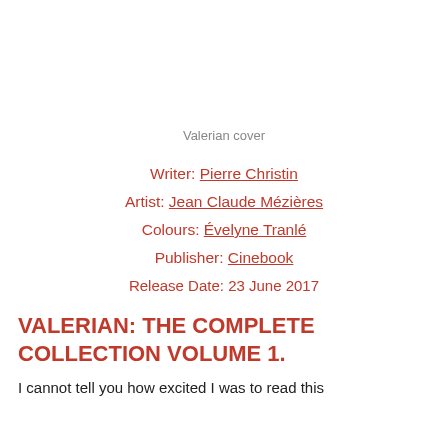Valerian cover
Writer: Pierre Christin
Artist: Jean Claude Mézières
Colours: Évelyne Tranlé
Publisher: Cinebook
Release Date: 23 June 2017
VALERIAN: THE COMPLETE COLLECTION VOLUME 1.
I cannot tell you how excited I was to read this